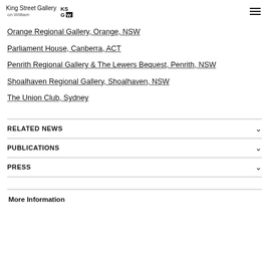King Street Gallery on William
Orange Regional Gallery, Orange, NSW
Parliament House, Canberra, ACT
Penrith Regional Gallery & The Lewers Bequest, Penrith, NSW
Shoalhaven Regional Gallery, Shoalhaven, NSW
The Union Club, Sydney
RELATED NEWS
PUBLICATIONS
PRESS
More Information